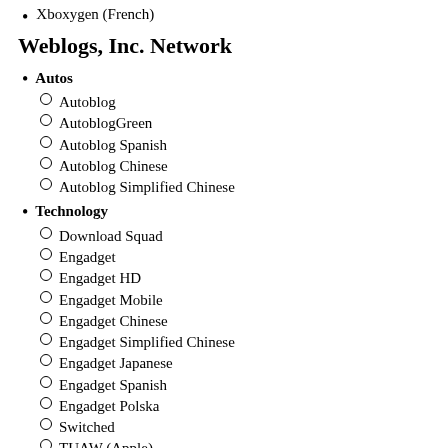Xboxygen (French)
Weblogs, Inc. Network
Autos
Autoblog
AutoblogGreen
Autoblog Spanish
Autoblog Chinese
Autoblog Simplified Chinese
Technology
Download Squad
Engadget
Engadget HD
Engadget Mobile
Engadget Chinese
Engadget Simplified Chinese
Engadget Japanese
Engadget Spanish
Engadget Polska
Switched
TUAW (Apple)
Lifestyle
AisleDash
DIY Life